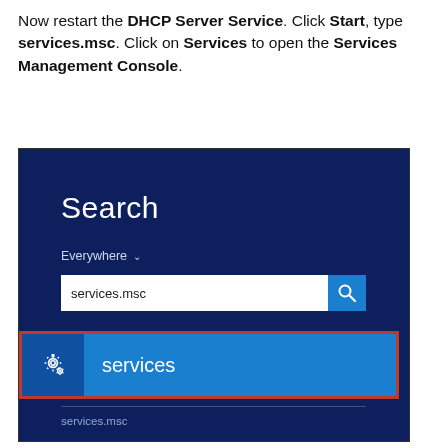Now restart the DHCP Server Service. Click Start, type services.msc. Click on Services to open the Services Management Console.
[Figure (screenshot): Windows 8/10 Search panel showing 'services.msc' typed in the search box, with a 'services' result highlighted in a blue row with a gear icon and a red border around it. Below is 'services.msc' as another result.]